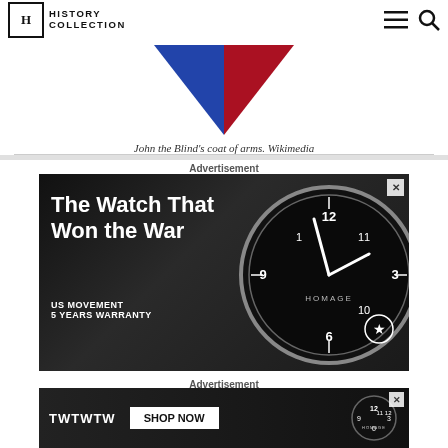History Collection
[Figure (illustration): John the Blind's coat of arms — a downward-pointing triangle split blue on the left and red on the right, on a white background]
John the Blind's coat of arms. Wikimedia
[Figure (photo): Advertisement banner: The Watch That Won the War — showing a soldier in dark gear and a large military pilot watch face with text 'US MOVEMENT 5 YEARS WARRANTY' and 'SHOP NOW' button. Brand: HOMAGE.]
Advertisement
[Figure (photo): Second advertisement banner: TWTWTW — SHOP NOW, showing military watch with HOMAGE branding]